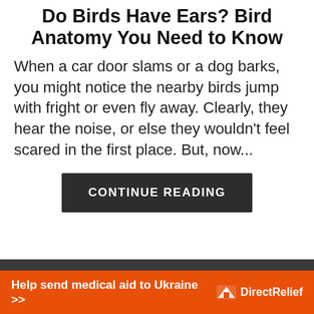Do Birds Have Ears? Bird Anatomy You Need to Know
When a car door slams or a dog barks, you might notice the nearby birds jump with fright or even fly away. Clearly, they hear the noise, or else they wouldn't feel scared in the first place. But, now...
CONTINUE READING
ABOUT US
[Figure (photo): Circular profile photo of a person, partially visible at bottom of page]
[Figure (other): reCAPTCHA icon in bottom-right corner]
Help send medical aid to Ukraine >>   Direct Relief